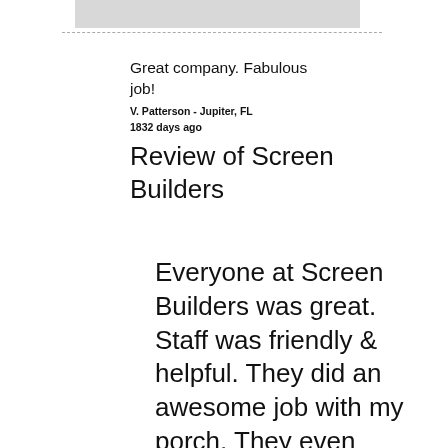[Figure (other): Gray image placeholder at top]
Great company. Fabulous job!
V. Patterson - Jupiter, FL
1832 days ago
Review of Screen Builders
Everyone at Screen Builders was great. Staff was friendly & helpful. They did an awesome job with my porch. They even stopped by to check it over after the job was done to